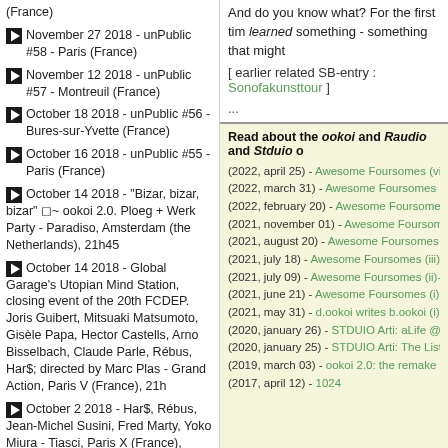(France)
November 27 2018 - unPublic #58 - Paris (France)
November 12 2018 - unPublic #57 - Montreuil (France)
October 18 2018 - unPublic #56 - Bures-sur-Yvette (France)
October 16 2018 - unPublic #55 - Paris (France)
October 14 2018 - "Bizar, bizar, bizar" ◻~ ookoi 2.0. Ploeg + Werk Party - Paradiso, Amsterdam (the Netherlands), 21h45
October 14 2018 - Global Garage's Utopian Mind Station, closing event of the 20th FCDEP. Joris Guibert, Mitsuaki Matsumoto, Gisèle Papa, Hector Castells, Arno Bisselbach, Claude Parle, Rébus, Har$; directed by Marc Plas - Grand Action, Paris V (France), 21h
October 2 2018 - Har$, Rébus, Jean-Michel Susini, Fred Marty, Yoko Miura - Tiasci, Paris X (France), 20h30
July 14 2018 - unPublic #54 - Paris (France)
July 11 2018 - Har$, OÖ
And do you know what? For the first tim learned something - something that might
[ earlier related SB-entry : Sonofakunsttour ]
...
Read about the ookoi and Raudio and Stduio o
(2022, april 25) - Awesome Foursomes (viii) - No.
(2022, march 31) - Awesome Foursomes (vii) - No
(2022, february 20) - Awesome Foursomes (vi) - N
(2021, november 01) - Awesome Foursomes (v) -
(2021, august 20) - Awesome Foursomes (iv) - No
(2021, july 18) - Awesome Foursomes (iii) - No. 58
(2021, july 09) - Awesome Foursomes (ii)- No. 284
(2021, june 21) - Awesome Foursomes (i) - No. 01
(2021, may 31) - d.ookoi writes b.ookoi (i)
(2020, january 26) - STDUIO Arti: aLife @Hal-five
(2020, january 25) - STDUIO Arti: The List Weeke
(2019, march 03) - ookoi 2.0: the remake of a spe
(2017, april 12) - 1024